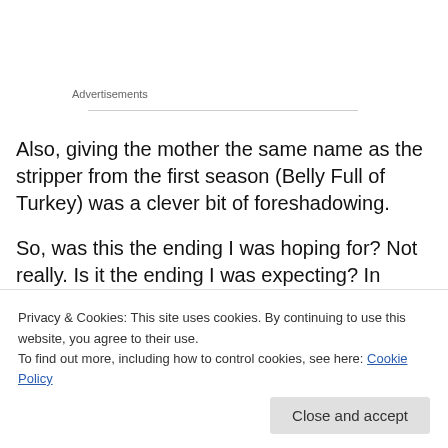Advertisements
Also, giving the mother the same name as the stripper from the first season (Belly Full of Turkey) was a clever bit of foreshadowing.
So, was this the ending I was hoping for? Not really. Is it the ending I was expecting? In some parts, yes. It was
Privacy & Cookies: This site uses cookies. By continuing to use this website, you agree to their use.
To find out more, including how to control cookies, see here: Cookie Policy
been the point all along.